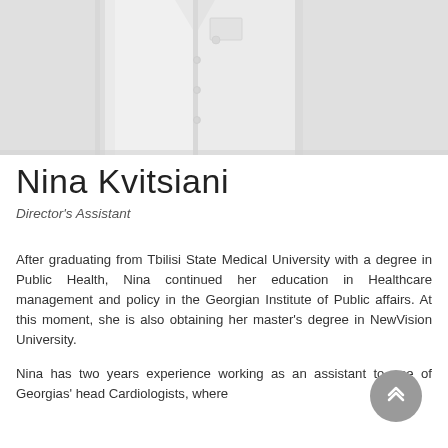[Figure (photo): Partial photo of a person wearing a white medical coat/lab coat, cropped to show the torso area only]
Nina Kvitsiani
Director's Assistant
After graduating from Tbilisi State Medical University with a degree in Public Health, Nina continued her education in Healthcare management and policy in the Georgian Institute of Public affairs. At this moment, she is also obtaining her master's degree in NewVision University.
Nina has two years experience working as an assistant to one of Georgias' head Cardiologists, where